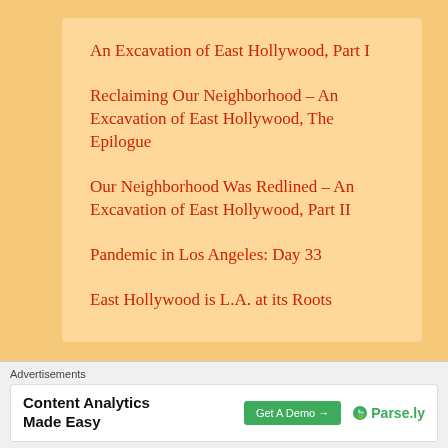An Excavation of East Hollywood, Part I
Reclaiming Our Neighborhood – An Excavation of East Hollywood, The Epilogue
Our Neighborhood Was Redlined – An Excavation of East Hollywood, Part II
Pandemic in Los Angeles: Day 33
East Hollywood is L.A. at its Roots
J.T. THE L.A. STORYTELLER IS PROUD TO BE
Advertisements
[Figure (other): Parse.ly advertisement banner: Content Analytics Made Easy, with Get A Demo button and Parse.ly logo]